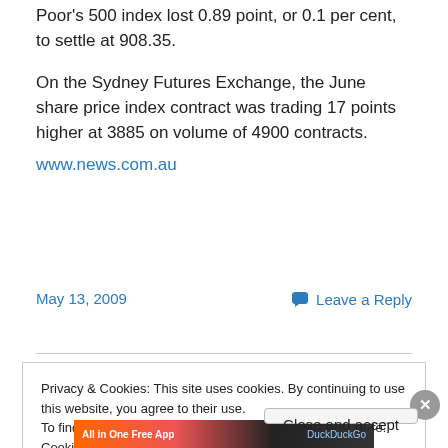Poor's 500 index lost 0.89 point, or 0.1 per cent, to settle at 908.35.
On the Sydney Futures Exchange, the June share price index contract was trading 17 points higher at 3885 on volume of 4900 contracts.
www.news.com.au
May 13, 2009
Leave a Reply
Privacy & Cookies: This site uses cookies. By continuing to use this website, you agree to their use.
To find out more, including how to control cookies, see here: Cookie Policy